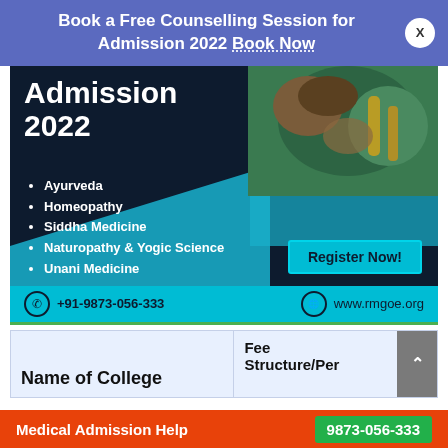Book a Free Counselling Session for Admission 2022 Book Now
[Figure (infographic): Admission 2022 advertisement banner for Ayurveda, Homeopathy, Siddha Medicine, Naturopathy & Yogic Science, Unani Medicine with Register Now button and contact info]
| Name of College | Fee Structure/Per... |
| --- | --- |
Medical Admission Help   9873-056-333